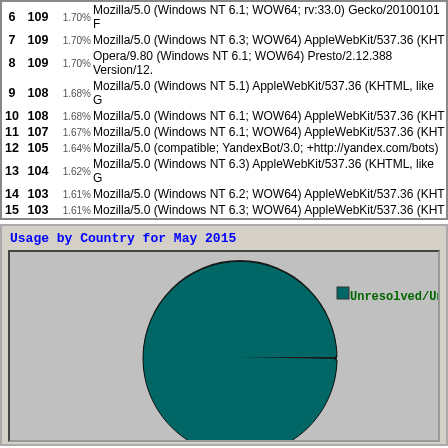| # | Count | % | User Agent |
| --- | --- | --- | --- |
| 6 | 109 | 1.70% | Mozilla/5.0 (Windows NT 6.1; WOW64; rv:33.0) Gecko/20100101 F... |
| 7 | 109 | 1.70% | Mozilla/5.0 (Windows NT 6.3; WOW64) AppleWebKit/537.36 (KHT... |
| 8 | 109 | 1.70% | Opera/9.80 (Windows NT 6.1; WOW64) Presto/2.12.388 Version/12.... |
| 9 | 108 | 1.68% | Mozilla/5.0 (Windows NT 5.1) AppleWebKit/537.36 (KHTML, like G... |
| 10 | 108 | 1.68% | Mozilla/5.0 (Windows NT 6.1; WOW64) AppleWebKit/537.36 (KHT... |
| 11 | 107 | 1.67% | Mozilla/5.0 (Windows NT 6.1; WOW64) AppleWebKit/537.36 (KHT... |
| 12 | 105 | 1.64% | Mozilla/5.0 (compatible; YandexBot/3.0; +http://yandex.com/bots) |
| 13 | 104 | 1.62% | Mozilla/5.0 (Windows NT 6.3) AppleWebKit/537.36 (KHTML, like G... |
| 14 | 103 | 1.61% | Mozilla/5.0 (Windows NT 6.2; WOW64) AppleWebKit/537.36 (KHT... |
| 15 | 103 | 1.61% | Mozilla/5.0 (Windows NT 6.3; WOW64) AppleWebKit/537.36 (KHT... |
[Figure (pie-chart): Pie chart showing usage by country for May 2015. A large green slice dominates nearly the entire chart, with a small sliver for another category. Legend shows 'Unresolved/Unknown' in green monospace text.]